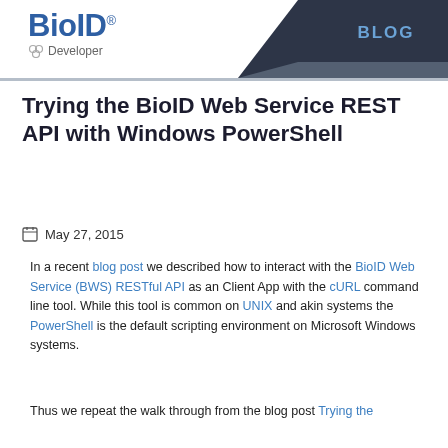BioID® Developer — BLOG
Trying the BioID Web Service REST API with Windows PowerShell
May 27, 2015
In a recent blog post we described how to interact with the BioID Web Service (BWS) RESTful API as an Client App with the cURL command line tool. While this tool is common on UNIX and akin systems the PowerShell is the default scripting environment on Microsoft Windows systems.
Thus we repeat the walk through from the blog post Trying the